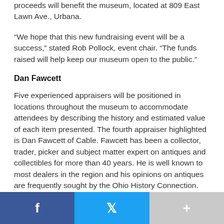proceeds will benefit the museum, located at 809 East Lawn Ave., Urbana.
“We hope that this new fundraising event will be a success,” stated Rob Pollock, event chair. “The funds raised will help keep our museum open to the public.”
Dan Fawcett
Five experienced appraisers will be positioned in locations throughout the museum to accommodate attendees by describing the history and estimated value of each item presented. The fourth appraiser highlighted is Dan Fawcett of Cable. Fawcett has been a collector, trader, picker and subject matter expert on antiques and collectibles for more than 40 years. He is well known to most dealers in the region and his opinions on antiques are frequently sought by the Ohio History Connection. His has a lifetime of knowledge of Logan, Clark and Champaign county artifacts. Fawcett is
[Figure (other): Social sharing bar with Facebook, Twitter, and a plus/more button]